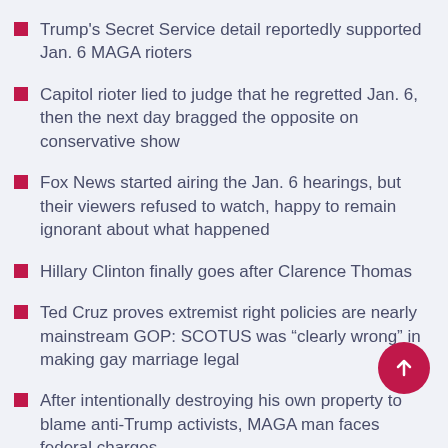Trump's Secret Service detail reportedly supported Jan. 6 MAGA rioters
Capitol rioter lied to judge that he regretted Jan. 6, then the next day bragged the opposite on conservative show
Fox News started airing the Jan. 6 hearings, but their viewers refused to watch, happy to remain ignorant about what happened
Hillary Clinton finally goes after Clarence Thomas
Ted Cruz proves extremist right policies are nearly mainstream GOP: SCOTUS was “clearly wrong” in making gay marriage legal
After intentionally destroying his own property to blame anti-Trump activists, MAGA man faces federal charges
Mike Pence’s team warned the Secret Service on